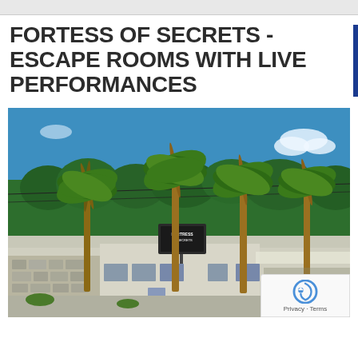FORTESS OF SECRETS - ESCAPE ROOMS WITH LIVE PERFORMANCES
[Figure (photo): Exterior photo of Fortress of Secrets escape room venue, a low white/grey stone building with signage, surrounded by tall palm trees and green trees against a bright blue sky.]
Privacy · Terms